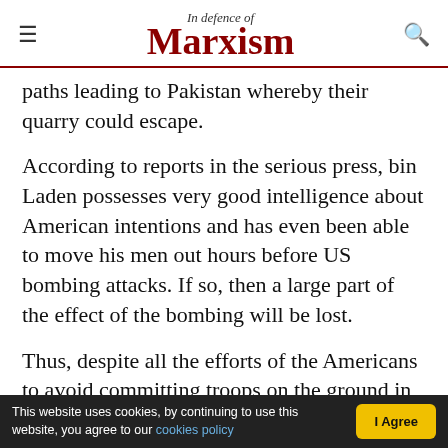In Defence of Marxism
paths leading to Pakistan whereby their quarry could escape.
According to reports in the serious press, bin Laden possesses very good intelligence about American intentions and has even been able to move his men out hours before US bombing attacks. If so, then a large part of the effect of the bombing will be lost.
Thus, despite all the efforts of the Americans to avoid committing troops on the ground in Afghanistan, sooner or later they will have to do so. So far they have showed extreme caution. The US
This website uses cookies, by continuing to use this website, you agree to our cookies policy